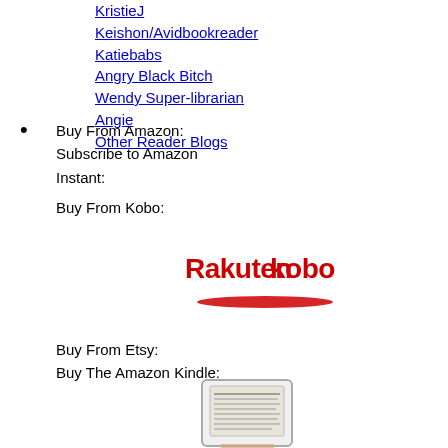KristieJ
Keishon/Avidbookreader
Katiebabs
Angry Black Bitch
Wendy Super-librarian
Angie
Other Reader Blogs
Buy From Amazon:
Subscribe to Amazon Instant:

Buy From Kobo:
[Figure (logo): Rakuten Kobo logo in red text]
Buy From Etsy:
Buy The Amazon Kindle:
[Figure (photo): Amazon Kindle device showing e-reader screen]